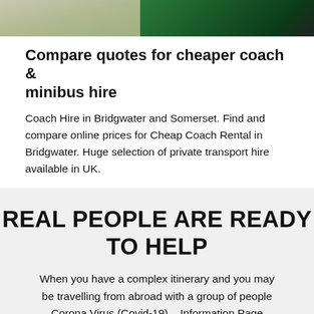[Figure (photo): Top portion of a photograph showing coaches or minibuses — left side shows light-colored rocky or foliage scene, right side shows a green vehicle/coach.]
Compare quotes for cheaper coach & minibus hire
Coach Hire in Bridgwater and Somerset. Find and compare online prices for Cheap Coach Rental in Bridgwater. Huge selection of private transport hire available in UK.
REAL PEOPLE ARE READY TO HELP
When you have a complex itinerary and you may be travelling from abroad with a group of people Corona Virus (Covid-19) – Information Page